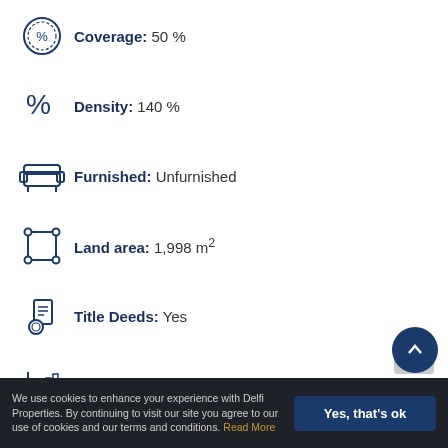Coverage: 50 %
Density: 140 %
Furnished: Unfurnished
Land area: 1,998 m²
Title Deeds: Yes
Years of Operation: 2012 Years
Yield: 6 %
Zone: Commercial
We use cookies to enhance your experience with Delfi Properties. By continuing to visit our site you agree to our use of cookies and our terms and conditions. Read More
Yes, that's ok